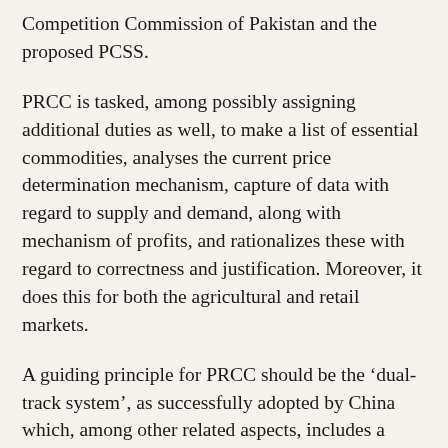Competition Commission of Pakistan and the proposed PCSS.
PRCC is tasked, among possibly assigning additional duties as well, to make a list of essential commodities, analyses the current price determination mechanism, capture of data with regard to supply and demand, along with mechanism of profits, and rationalizes these with regard to correctness and justification. Moreover, it does this for both the agricultural and retail markets.
A guiding principle for PRCC should be the ‘dual-track system’, as successfully adopted by China which, among other related aspects, includes a pricing mechanism, and not to follow the principle of ‘shock therapy’ of fast and market fundamentalism-based price liberalization, as